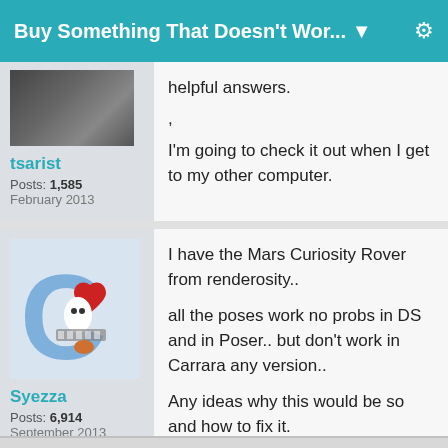Buy Something That Doesn't Wor... ▼
helpful answers.
I'm going to check it out when I get to my other computer.
tsarist
Posts: 1,585
February 2013
I have the Mars Curiosity Rover from renderosity..

all the poses work no probs in DS and in Poser.. but don't work in Carrara any version..

Any ideas why this would be so and how to fix it.

Thanks
Syezza
Posts: 6,914
September 2013